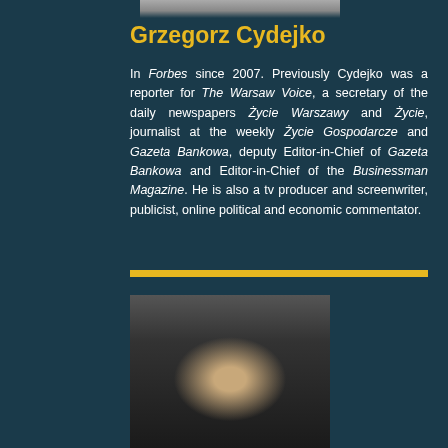[Figure (photo): Top portion of a person's photo (cropped at top of page)]
Grzegorz Cydejko
In Forbes since 2007. Previously Cydejko was a reporter for The Warsaw Voice, a secretary of the daily newspapers Życie Warszawy and Życie, journalist at the weekly Życie Gospodarcze and Gazeta Bankowa, deputy Editor-in-Chief of Gazeta Bankowa and Editor-in-Chief of the Businessman Magazine. He is also a tv producer and screenwriter, publicist, online political and economic commentator.
[Figure (photo): Black and white portrait photo of a person with light hair, looking slightly downward]